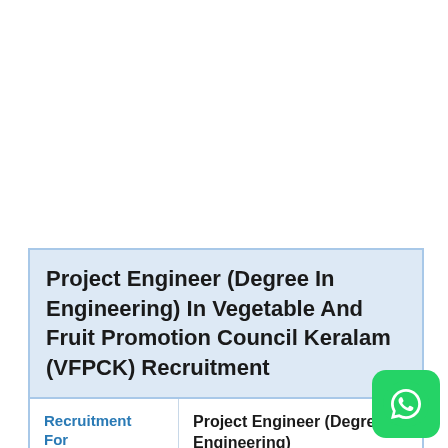Project Engineer (Degree In Engineering) In Vegetable And Fruit Promotion Council Keralam (VFPCK) Recruitment
|  |  |
| --- | --- |
| Recruitment For | Project Engineer (Degree in Engineering) |
| Minimum Salary | 30000 |